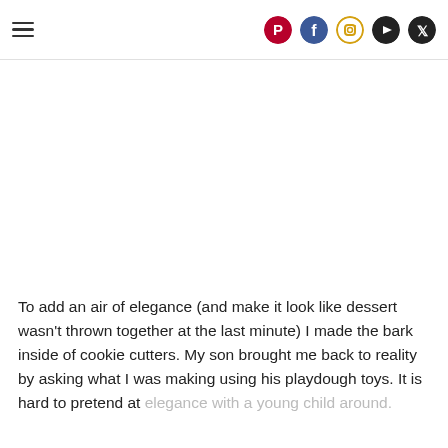Navigation header with hamburger menu and social media icons (Pinterest, Facebook, Instagram, YouTube, Twitter)
To add an air of elegance (and make it look like dessert wasn't thrown together at the last minute) I made the bark inside of cookie cutters. My son brought me back to reality by asking what I was making using his playdough toys. It is hard to pretend at elegance with a young child around.